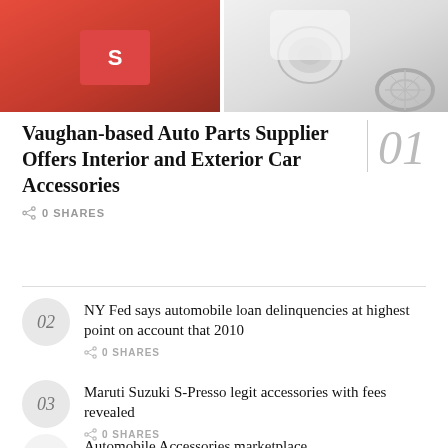[Figure (photo): Two automotive photos side by side: left shows red Suzuki car body/badge detail, right shows white motorcycle front headlight and wheel]
Vaughan-based Auto Parts Supplier Offers Interior and Exterior Car Accessories
0 SHARES
02 NY Fed says automobile loan delinquencies at highest point on account that 2010
0 SHARES
03 Maruti Suzuki S-Presso legit accessories with fees revealed
0 SHARES
04 Automobile Accessories marketplace